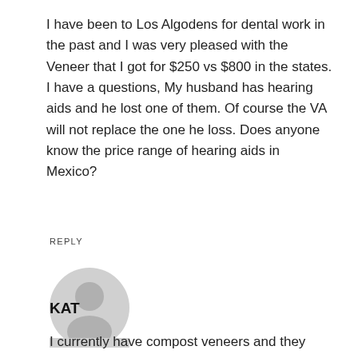I have been to Los Algodens for dental work in the past and I was very pleased with the Veneer that I got for $250 vs $800 in the states. I have a questions, My husband has hearing aids and he lost one of them. Of course the VA will not replace the one he loss. Does anyone know the price range of hearing aids in Mexico?
REPLY
[Figure (illustration): Generic user avatar — grey silhouette of a person's head and shoulders on a light grey circle background]
KAT
I currently have compost veneers and they